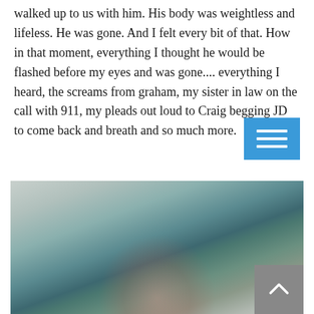walked up to us with him. His body was weightless and lifeless. He was gone. And I felt every bit of that. How in that moment, everything I thought he would be flashed before my eyes and was gone.... everything I heard, the screams from graham, my sister in law on the call with 911, my pleads out loud to Craig begging JD to come back and breath and so much more.
[Figure (photo): A blurred photograph, likely of a person or scene, with muted teal, green, grey and pink tones. A blue hamburger-menu button overlays the top-right area of the text above, and a grey back-to-top arrow button appears in the bottom-right corner of the image.]